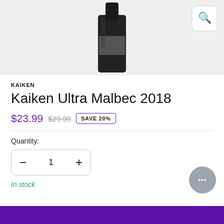[Figure (photo): Product image of a dark wine bottle (Kaiken Ultra Malbec 2018) on a light gray background, with a magnify/search icon button in the top right corner.]
KAIKEN
Kaiken Ultra Malbec 2018
$23.99  $29.99  SAVE 20%
Quantity:
− 1 +
In stock